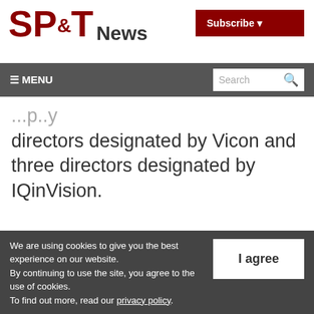SP&T News
Subscribe ▾
≡ MENU | Search
directors designated by Vicon and three directors designated by IQinVision.
Tweet  Share  Share  Print this page
We are using cookies to give you the best experience on our website.
By continuing to use the site, you agree to the use of cookies.
To find out more, read our privacy policy.